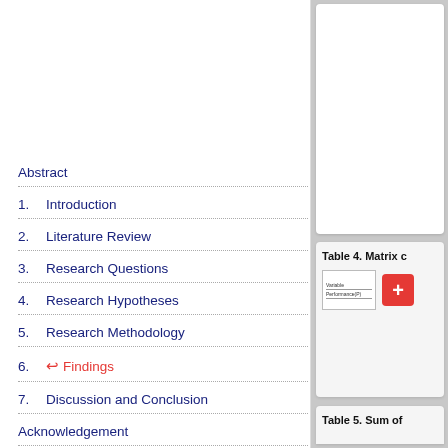Abstract
1. Introduction
2. Literature Review
3. Research Questions
4. Research Hypotheses
5. Research Methodology
6. Findings (current)
7. Discussion and Conclusion
Acknowledgement
References
Table 4. Matrix c
[Figure (table-as-image): Partial view of Table 4 matrix with Variable and Performance(P) rows visible, with a red plus button]
Table 5. Sum of